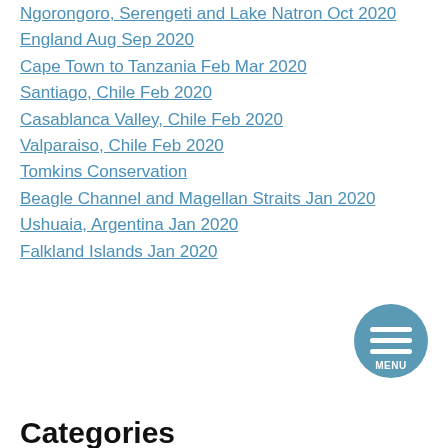Ngorongoro, Serengeti and Lake Natron Oct 2020
England Aug Sep 2020
Cape Town to Tanzania Feb Mar 2020
Santiago, Chile Feb 2020
Casablanca Valley, Chile Feb 2020
Valparaiso, Chile Feb 2020
Tomkins Conservation
Beagle Channel and Magellan Straits Jan 2020
Ushuaia, Argentina Jan 2020
Falkland Islands Jan 2020
[Figure (illustration): Circular blue menu button with three horizontal white lines and MENU text]
Categories